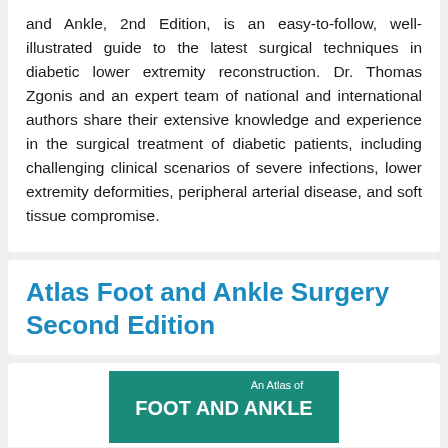and Ankle, 2nd Edition, is an easy-to-follow, well-illustrated guide to the latest surgical techniques in diabetic lower extremity reconstruction. Dr. Thomas Zgonis and an expert team of national and international authors share their extensive knowledge and experience in the surgical treatment of diabetic patients, including challenging clinical scenarios of severe infections, lower extremity deformities, peripheral arterial disease, and soft tissue compromise.
Atlas Foot and Ankle Surgery Second Edition
[Figure (other): Book cover showing 'An Atlas of FOOT AND ANKLE' with teal/green background and white text]